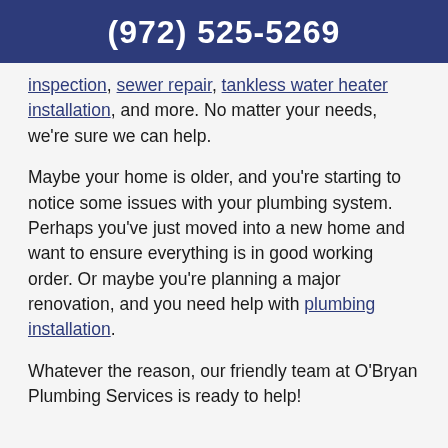(972) 525-5269
inspection, sewer repair, tankless water heater installation, and more. No matter your needs, we're sure we can help.
Maybe your home is older, and you're starting to notice some issues with your plumbing system. Perhaps you've just moved into a new home and want to ensure everything is in good working order. Or maybe you're planning a major renovation, and you need help with plumbing installation.
Whatever the reason, our friendly team at O'Bryan Plumbing Services is ready to help!